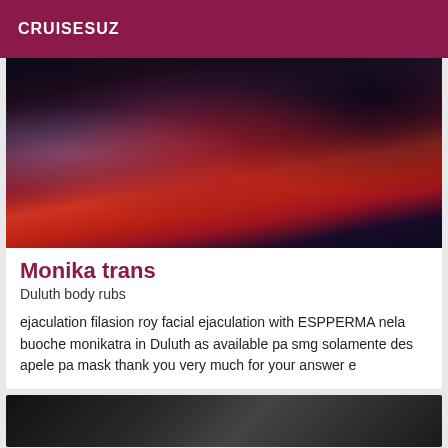CRUISESUZ
[Figure (photo): Close-up photo of a person wearing a dark costume with red and purple decorative elements, feathers, and sparkling details]
Monika trans
Duluth body rubs
ejaculation filasion roy facial ejaculation with ESPPERMA nela buoche monikatra in Duluth as available pa smg solamente des apele pa mask thank you very much for your answer e
[Figure (photo): Partial view of another photo at the bottom of the page, dark tones]